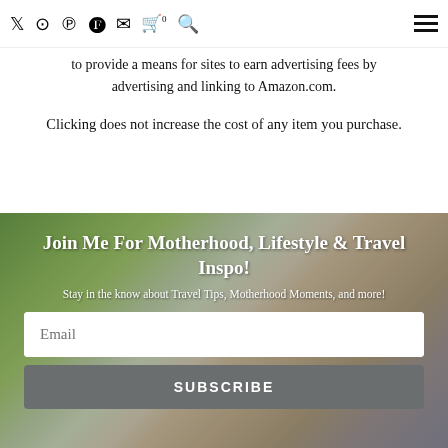Twitter Instagram Pinterest Facebook Email Cart 0 Search Menu
to provide a means for sites to earn advertising fees by advertising and linking to Amazon.com.
Clicking does not increase the cost of any item you purchase.
[Figure (photo): Family outdoors photo background for newsletter signup section]
Join Me For Motherhood, Lifestyle & Travel Inspo!
Stay in the know about Travel Tips, Motherhood Moments, and more!